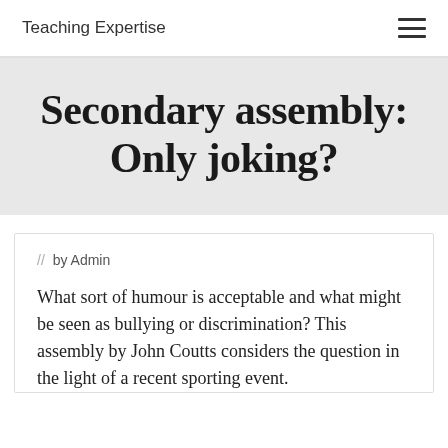Teaching Expertise
Secondary assembly: Only joking?
// by Admin
What sort of humour is acceptable and what might be seen as bullying or discrimination? This assembly by John Coutts considers the question in the light of a recent sporting event.